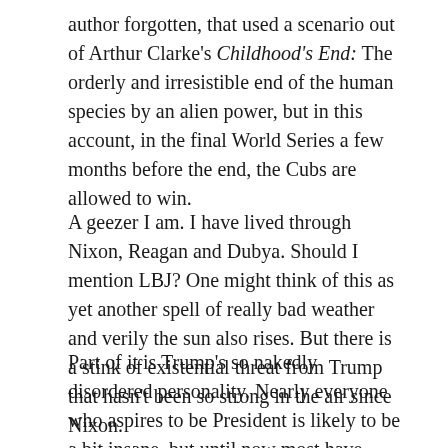author forgotten, that used a scenario out of Arthur Clarke's Childhood's End: The orderly and irresistible end of the human species by an alien power, but in this account, in the final World Series a few months before the end, the Cubs are allowed to win.
A geezer I am. I have lived through Nixon, Reagan and Dubya. Should I mention LBJ? One might think of this as yet another spell of really bad weather and verily the sun also rises. But there is a stink of existential threat from Trump that hasn't been so strong in the air since Nixon.
Part of it is Trump's so nakedly disordered personality. Nearly everyone who aspires to be President is likely to be a bit insane, but until now most have been able to simulate normality. Part of it is the enthusiastic bigotry